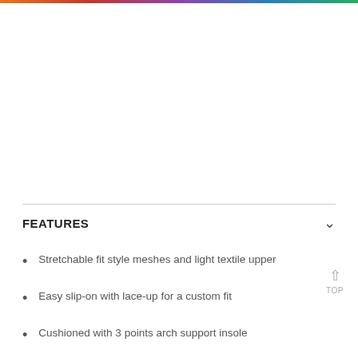[Figure (photo): Product image area (mostly white/blank in this view)]
FEATURES
Stretchable fit style meshes and light textile upper
Easy slip-on with lace-up for a custom fit
Cushioned with 3 points arch support insole
PU (Polyurethane) out sole